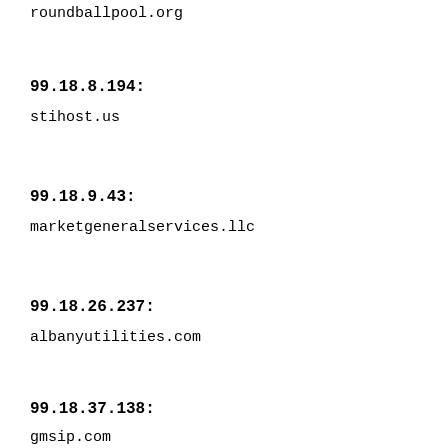roundballpool.org
99.18.8.194:
stihost.us
99.18.9.43:
marketgeneralservices.llc
99.18.26.237:
albanyutilities.com
99.18.37.138:
gmsip.com